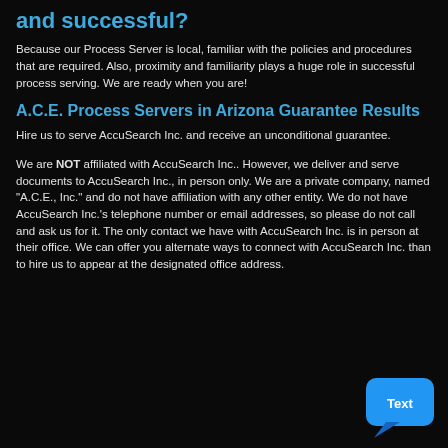and successful?
Because our Process Server is local, familiar with the policies and procedures that are required. Also, proximity and familiarity plays a huge role in successful process serving. We are ready when you are!
A.C.E. Process Servers in Arizona Guarantee Results
Hire us to serve AccuSearch Inc. and receive an unconditional guarantee.
We are NOT affiliated with AccuSearch Inc.. However, we deliver and serve documents to AccuSearch Inc., in person only. We are a private company, named "A.C.E., Inc." and do not have affiliation with any other entity. We do not have AccuSearch Inc.'s telephone number or email addresses, so please do not call and ask us for it. The only contact we have with AccuSearch Inc. is in person at their office. We can offer you alternate ways to connect with AccuSearch Inc. than to hire us to appear at the designated office address.
[Figure (illustration): Blue chat bubble icon with the word Text inside it]